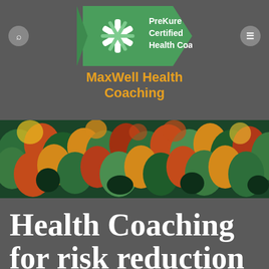[Figure (logo): PreKure Certified Health Coach logo badge - green pentagon/arrow shape with white asterisk/snowflake symbol and white text]
MaxWell Health Coaching
[Figure (photo): Aerial view of a forest with colorful autumn foliage in various shades of green, red, orange, and yellow]
Health Coaching for risk reduction